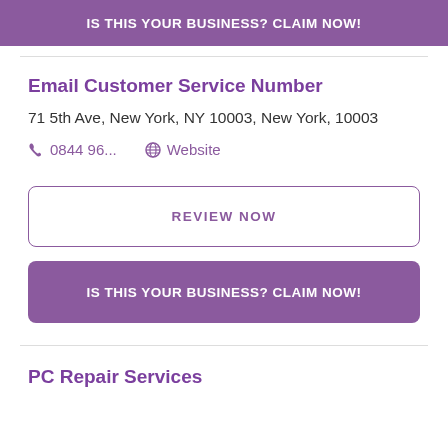IS THIS YOUR BUSINESS? CLAIM NOW!
Email Customer Service Number
71 5th Ave, New York, NY 10003, New York, 10003
0844 96...    Website
REVIEW NOW
IS THIS YOUR BUSINESS? CLAIM NOW!
PC Repair Services